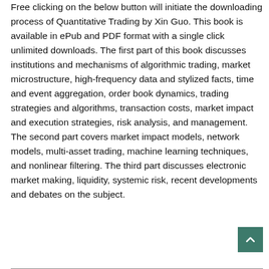Free clicking on the below button will initiate the downloading process of Quantitative Trading by Xin Guo. This book is available in ePub and PDF format with a single click unlimited downloads. The first part of this book discusses institutions and mechanisms of algorithmic trading, market microstructure, high-frequency data and stylized facts, time and event aggregation, order book dynamics, trading strategies and algorithms, transaction costs, market impact and execution strategies, risk analysis, and management. The second part covers market impact models, network models, multi-asset trading, machine learning techniques, and nonlinear filtering. The third part discusses electronic market making, liquidity, systemic risk, recent developments and debates on the subject.